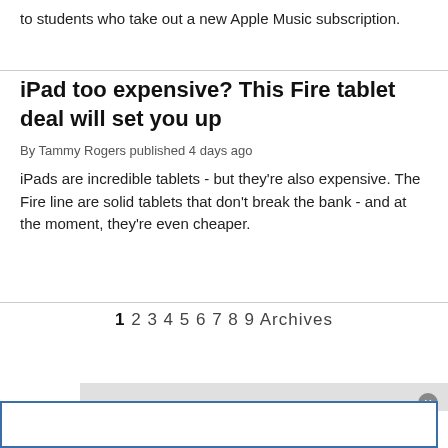to students who take out a new Apple Music subscription.
iPad too expensive? This Fire tablet deal will set you up
By Tammy Rogers published 4 days ago
iPads are incredible tablets - but they're also expensive. The Fire line are solid tablets that don't break the bank - and at the moment, they're even cheaper.
1 2 3 4 5 6 7 8 9 Archives